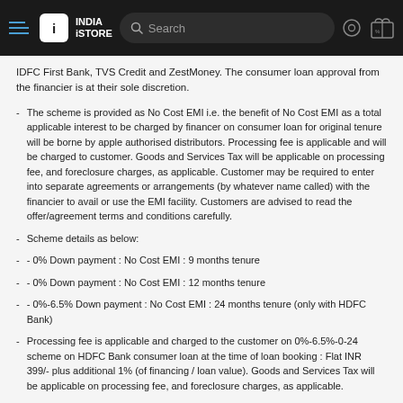India iStore — Search header navigation
IDFC First Bank, TVS Credit and ZestMoney. The consumer loan approval from the financier is at their sole discretion.
The scheme is provided as No Cost EMI i.e. the benefit of No Cost EMI as a total applicable interest to be charged by financer on consumer loan for original tenure will be borne by apple authorised distributors. Processing fee is applicable and will be charged to customer. Goods and Services Tax will be applicable on processing fee, and foreclosure charges, as applicable. Customer may be required to enter into separate agreements or arrangements (by whatever name called) with the financier to avail or use the EMI facility. Customers are advised to read the offer/agreement terms and conditions carefully.
Scheme details as below:
- 0% Down payment : No Cost EMI : 9 months tenure
- 0% Down payment : No Cost EMI : 12 months tenure
- 0%-6.5% Down payment : No Cost EMI : 24 months tenure (only with HDFC Bank)
Processing fee is applicable and charged to the customer on 0%-6.5%-0-24 scheme on HDFC Bank consumer loan at the time of loan booking : Flat INR 399/- plus additional 1% (of financing / loan value). Goods and Services Tax will be applicable on processing fee, and foreclosure charges, as applicable.